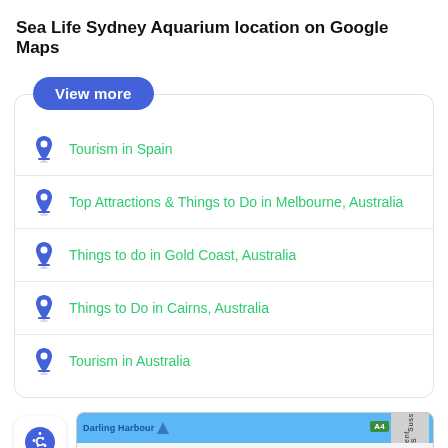Sea Life Sydney Aquarium location on Google Maps
Tourism in Spain
Top Attractions & Things to Do in Melbourne, Australia
Things to do in Gold Coast, Australia
Things to Do in Cairns, Australia
Tourism in Australia
[Figure (screenshot): Cookie settings icon and partial Google Maps screenshot showing Darling Harbour area with SEA LIFE Sydney Aquarium label]